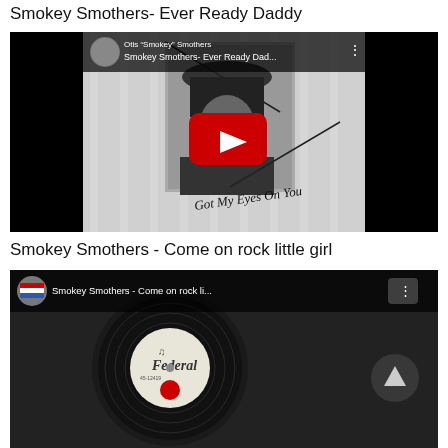Smokey Smothers- Ever Ready Daddy
[Figure (screenshot): YouTube video thumbnail for 'Smokey Smothers- Ever Ready Dad...' showing album art with a man in a hat and cursive text 'Got My Eyes On You', with a red YouTube play button overlay. Channel: Otis 'Smokey' Smothers]
Smokey Smothers - Come on rock little girl
[Figure (screenshot): YouTube video thumbnail for 'Smokey Smothers - Come on rock li...' showing a vinyl record with a Federal Records label. Chevron/up arrow button visible on right.]